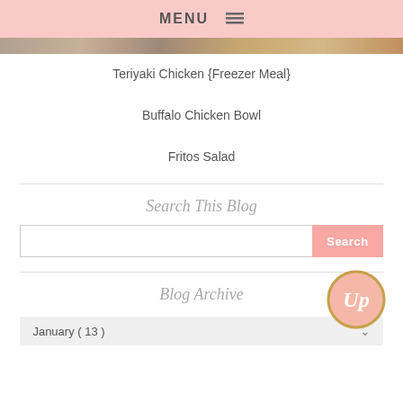MENU ☰
[Figure (photo): Partial photograph of a food dish, cropped at top]
Teriyaki Chicken {Freezer Meal}
Buffalo Chicken Bowl
Fritos Salad
Search This Blog
Blog Archive
[Figure (logo): Round logo with pink and gold border, stylized 'Up' lettering in white]
January ( 13 )